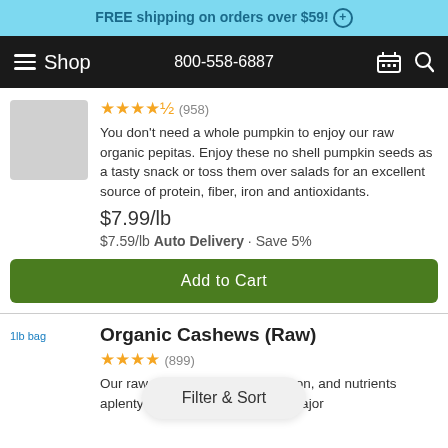FREE shipping on orders over $59! (+)
Shop   800-558-6887
You don't need a whole pumpkin to enjoy our raw organic pepitas. Enjoy these no shell pumpkin seeds as a tasty snack or toss them over salads for an excellent source of protein, fiber, iron and antioxidants.
$7.99/lb
$7.59/lb Auto Delivery · Save 5%
Add to Cart
Organic Cashews (Raw)
Our raw ... bestow protein, iron, and nutrients aplenty so that you can enjoy a major
Filter & Sort